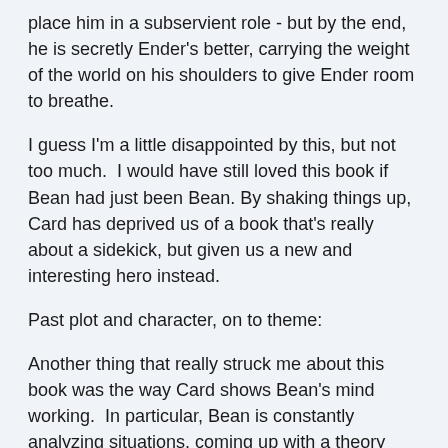place him in a subservient role - but by the end, he is secretly Ender's better, carrying the weight of the world on his shoulders to give Ender room to breathe.
I guess I'm a little disappointed by this, but not too much.  I would have still loved this book if Bean had just been Bean. By shaking things up, Card has deprived us of a book that's really about a sidekick, but given us a new and interesting hero instead.
Past plot and character, on to theme:
Another thing that really struck me about this book was the way Card shows Bean's mind working.  In particular, Bean is constantly analyzing situations, coming up with a theory that fits the situation, then analyzing the theory, modifying or discarding it as appropriate.  Bean questions EVERYTHING.  A teacher will give a long, two-paragraph speech about a topic, I'll find myself automatically assuming it's true, and then immediately Bean will think about how that speech is bogus, and give incontrovertible reasons why it can't be true.  Throughout the book Bean is a thorn in the